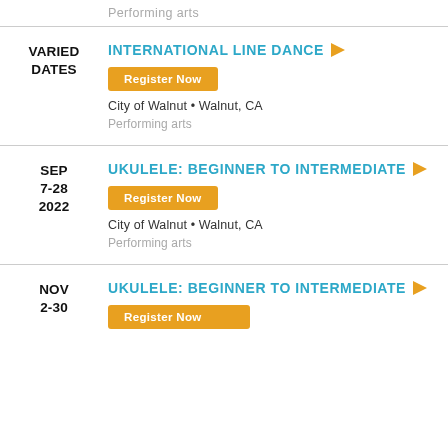Performing arts
INTERNATIONAL LINE DANCE
Register Now
City of Walnut • Walnut, CA
Performing arts
VARIED DATES
UKULELE: BEGINNER TO INTERMEDIATE
Register Now
City of Walnut • Walnut, CA
Performing arts
SEP 7-28 2022
UKULELE: BEGINNER TO INTERMEDIATE
NOV 2-30